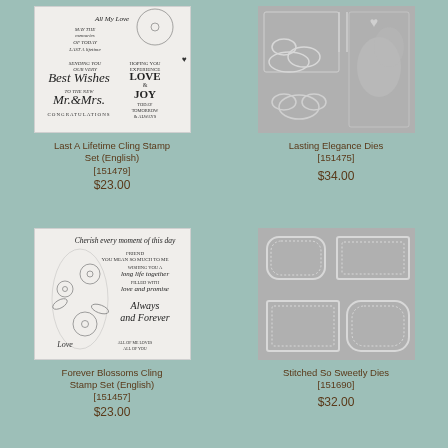[Figure (photo): Last A Lifetime Cling Stamp Set image showing wedding-themed stamps with text including 'Best Wishes', 'Mr & Mrs', 'Congratulations', 'Love & Joy']
Last A Lifetime Cling Stamp Set (English)
[151479]
$23.00
[Figure (photo): Lasting Elegance Dies image showing grey metal dies with cloud and floral shapes]
Lasting Elegance Dies
[151475]
$34.00
[Figure (photo): Forever Blossoms Cling Stamp Set showing floral stamps with flowers, leaves and sentiment text including 'Always and Forever', 'Love']
Forever Blossoms Cling Stamp Set (English)
[151457]
$23.00
[Figure (photo): Stitched So Sweetly Dies showing grey metal dies with stitched rectangle and decorative label frame shapes]
Stitched So Sweetly Dies
[151690]
$32.00